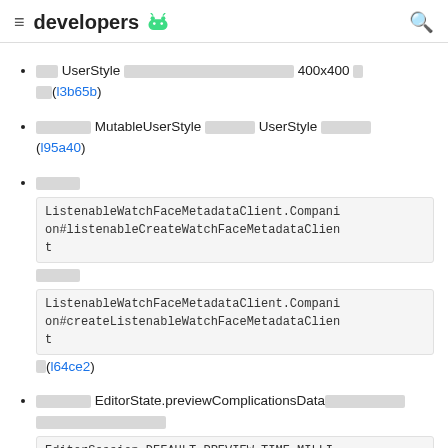developers [android logo]
[redacted] UserStyle [redacted] 400x400 [redacted] (l3b65b)
[redacted] MutableUserStyle [redacted] UserStyle [redacted] (l95a40)
[redacted] ListenableWatchFaceMetadataClient.Companion#listenableCreateWatchFaceMetadataClient [redacted] ListenableWatchFaceMetadataClient.Companion#createListenableWatchFaceMetadataClient [redacted] (l64ce2)
[redacted] EditorState.previewComplicationsData [redacted] EditorSession.DEFAULT_PREVIEW_TIME_MILLIS [redacted] renderWatchFaceToBitmap [redacted]